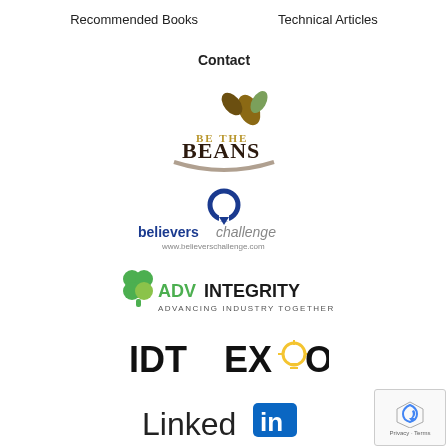Recommended Books    Technical Articles
Contact
[Figure (logo): Be The Beans logo with coffee bean and leaf graphic]
[Figure (logo): Believers Challenge logo with blue ring icon and www.believerschallenge.com URL]
[Figure (logo): ADV Integrity logo with green clover icon, text ADVINTEGRITY, tagline ADVANCING INDUSTRY TOGETHER]
[Figure (logo): IDTEXPO logo with lightbulb icon replacing the O in EXPO]
[Figure (logo): LinkedIn logo with blue square in icon]
[Figure (logo): Google reCAPTCHA badge with Privacy and Terms text]